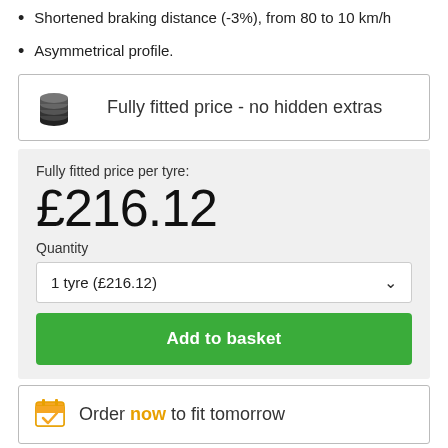Shortened braking distance (-3%), from 80 to 10 km/h
Asymmetrical profile.
Fully fitted price - no hidden extras
Fully fitted price per tyre: £216.12
Quantity
1 tyre (£216.12)
Add to basket
Order now to fit tomorrow